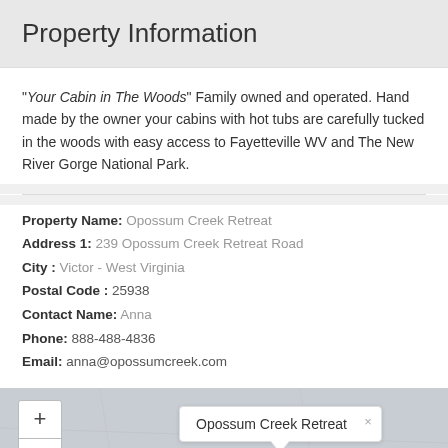Property Information
"Your Cabin in The Woods" Family owned and operated. Hand made by the owner your cabins with hot tubs are carefully tucked in the woods with easy access to Fayetteville WV and The New River Gorge National Park.
Property Name: Opossum Creek Retreat
Address 1: 239 Opossum Creek Retreat Road
City : Victor - West Virginia
Postal Code : 25938
Contact Name: Anna
Phone: 888-488-4836
Email: anna@opossumcreek.com
[Figure (map): Map showing location of Opossum Creek Retreat with zoom controls and a popup label reading 'Opossum Creek Retreat']